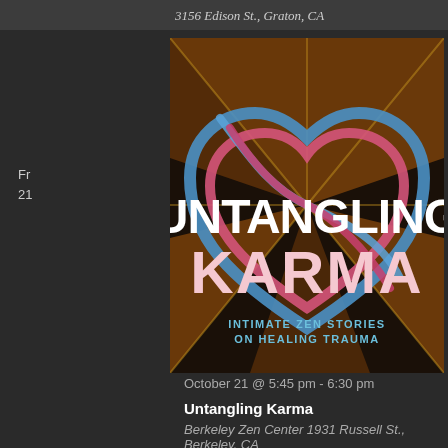3156 Edison St., Graton, CA
Fr
21
[Figure (illustration): Book cover for 'Untangling Karma: Intimate Zen Stories on Healing Trauma'. Features large white bold text 'UNTANGLING KARMA' over a colorful heart-shaped artwork with intertwined ropes in blue, pink/red, and gold on a dark background with radiating patterns. Subtitle in light blue: 'INTIMATE ZEN STORIES ON HEALING TRAUMA'.]
October 21 @ 5:45 pm - 6:30 pm
Untangling Karma
Berkeley Zen Center 1931 Russell St., Berkeley, CA